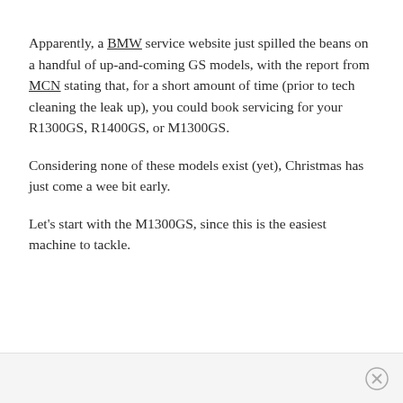Apparently, a BMW service website just spilled the beans on a handful of up-and-coming GS models, with the report from MCN stating that, for a short amount of time (prior to tech cleaning the leak up), you could book servicing for your R1300GS, R1400GS, or M1300GS.
Considering none of these models exist (yet), Christmas has just come a wee bit early.
Let's start with the M1300GS, since this is the easiest machine to tackle.